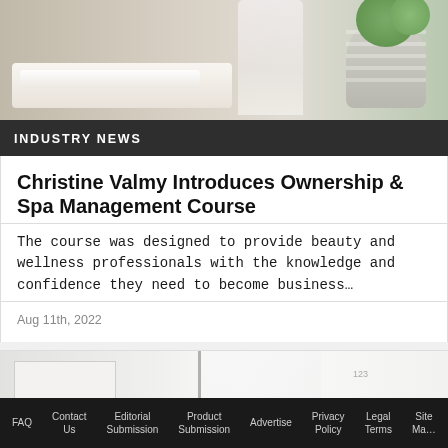[Figure (photo): Spa/wellness room photo showing a person in white clothing making a bed, with a large striped pot and green plant in the background]
INDUSTRY NEWS
Christine Valmy Introduces Ownership & Spa Management Course
The course was designed to provide beauty and wellness professionals with the knowledge and confidence they need to become business…
Aug 11th, 2022
[Figure (photo): Interior of a spa or salon room with white shelving, rolled towels, mirrors and clean minimal decor]
FAQ   Contact Us   Editorial Submission   Product Submission   Advertise   Privacy Policy   Legal Terms   Site Map